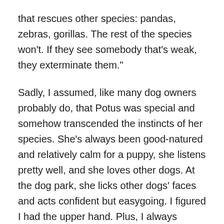that rescues other species: pandas, zebras, gorillas. The rest of the species won't. If they see somebody that's weak, they exterminate them."
Sadly, I assumed, like many dog owners probably do, that Potus was special and somehow transcended the instincts of her species. She's always been good-natured and relatively calm for a puppy, she listens pretty well, and she loves other dogs. At the dog park, she licks other dogs' faces and acts confident but easygoing. I figured I had the upper hand. Plus, I always thought that bad, dominant dogs were easy to spot, like my mom's Jack Russell, who quite possibly files as head of household on her tax return. But when Potus hit about 8 months, something changed: She